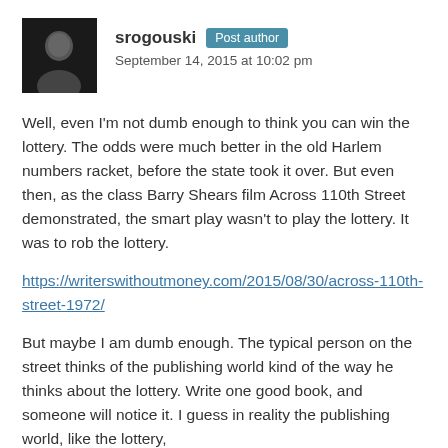srogouski  Post author
September 14, 2015 at 10:02 pm
Well, even I'm not dumb enough to think you can win the lottery. The odds were much better in the old Harlem numbers racket, before the state took it over. But even then, as the class Barry Shears film Across 110th Street demonstrated, the smart play wasn't to play the lottery. It was to rob the lottery.
https://writerswithoutmoney.com/2015/08/30/across-110th-street-1972/
But maybe I am dumb enough. The typical person on the street thinks of the publishing world kind of the way he thinks about the lottery. Write one good book, and someone will notice it. I guess in reality the publishing world, like the lottery,